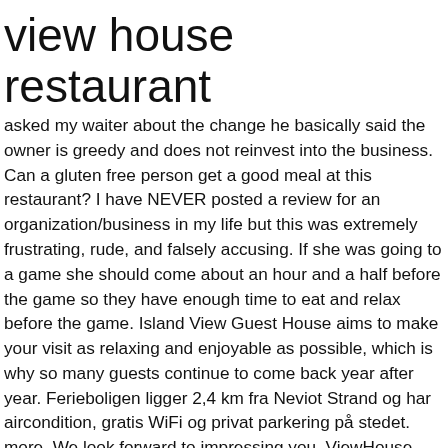view house restaurant
asked my waiter about the change he basically said the owner is greedy and does not reinvest into the business. Can a gluten free person get a good meal at this restaurant? I have NEVER posted a review for an organization/business in my life but this was extremely frustrating, rude, and falsely accusing. If she was going to a game she should come about an hour and a half before the game so they have enough time to eat and relax before the game. Island View Guest House aims to make your visit as relaxing and enjoyable as possible, which is why so many guests continue to come back year after year. Ferieboligen ligger 2,4 km fra Neviot Strand og har aircondition, gratis WiFi og privat parkering på stedet. more. We look forward to impressing you. ViewHouse Restobar, Cusco: See 383 unbiased reviews of ViewHouse Restobar, rated 5 of 5 on Tripadvisor and ranked #11 of 989 restaurants in Cusco. A bowl of soup is the size of a cup anywhere else We added all our seafood to the existing name and created a new home cooking menu. The cloth seats were terribly stained though, and not suitable for seating. Stop in to have a good meal, refreshing drink and catch a game with a warm hospitality. Wife and I are visiting Denver for the first time in June. Not a large portion which was great, since I was heading to the ball field. I had not been back since then (several years), the bar. Get menu, photos